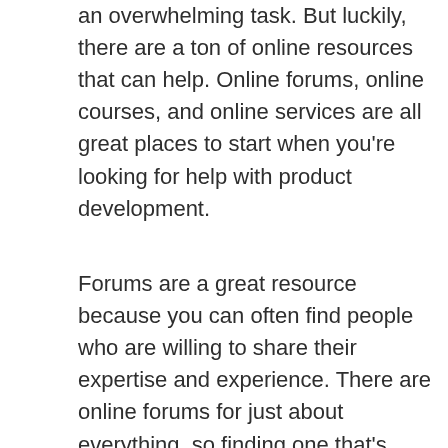an overwhelming task. But luckily, there are a ton of online resources that can help. Online forums, online courses, and online services are all great places to start when you're looking for help with product development.
Forums are a great resource because you can often find people who are willing to share their expertise and experience. There are online forums for just about everything, so finding one that's specific to product development should be easy. Once you find a forum, spend some time reading through the posts to see if there's anything that can help you with your project.
Online courses can be a great way to learn new skills or brush up on ones you already have. If